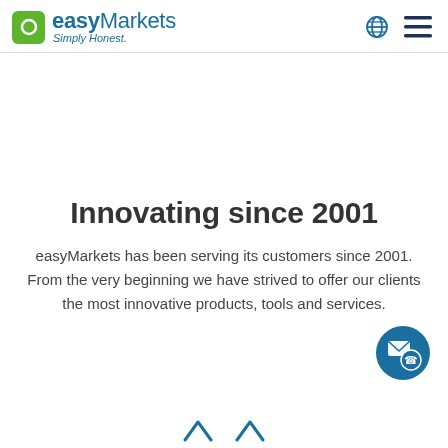easyMarkets Simply Honest.
Innovating since 2001
easyMarkets has been serving its customers since 2001. From the very beginning we have strived to offer our clients the most innovative products, tools and services.
[Figure (other): Contact button with envelope and phone icons, dark blue circle, bottom right corner]
[Figure (other): Two small blue upward-pointing chevron/arrow icons at the bottom center of the page]